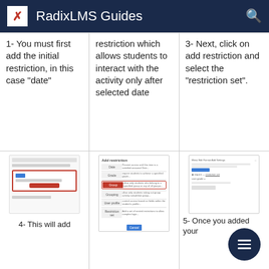RadixLMS Guides
1- You must first add the initial restriction, in this case "date"
restriction which allows students to interact with the activity only after selected date
3- Next, click on add restriction and select the "restriction set".
[Figure (screenshot): Screenshot of LMS interface showing a highlighted date restriction field with red border]
[Figure (screenshot): Screenshot of Add restriction dialog with Group option highlighted in red border]
[Figure (screenshot): Screenshot of LMS restriction settings with blue highlighted element]
4- This will add
5- Once you added your